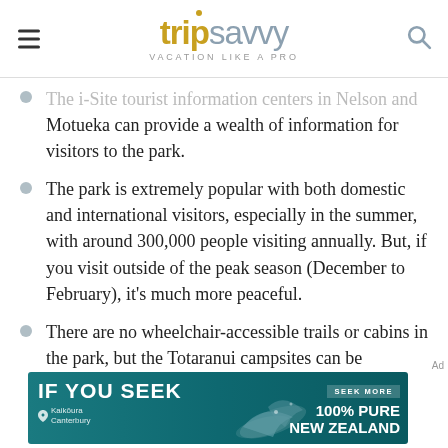tripsavvy VACATION LIKE A PRO
The i-Site tourist information centers in Nelson and Motueka can provide a wealth of information for visitors to the park.
The park is extremely popular with both domestic and international visitors, especially in the summer, with around 300,000 people visiting annually. But, if you visit outside of the peak season (December to February), it's much more peaceful.
There are no wheelchair-accessible trails or cabins in the park, but the Totaranui campsites can be
[Figure (screenshot): Advertisement banner for 100% Pure New Zealand featuring dolphins and teal ocean background. Text reads: IF YOU SEEK / Kaikōura Canterbury / SEEK MORE / 100% PURE NEW ZEALAND]